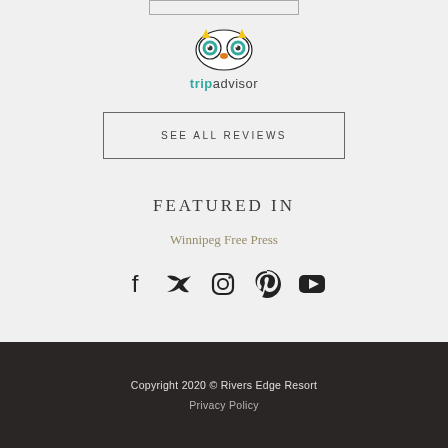[Figure (logo): TripAdvisor owl logo with text 'tripadvisor' below it]
SEE ALL REVIEWS
FEATURED IN
Winnipeg Free Press
[Figure (illustration): Social media icons: Facebook, Twitter, Instagram, Pinterest, YouTube]
Copyright 2020 © Rivers Edge Resort
Privacy Policy